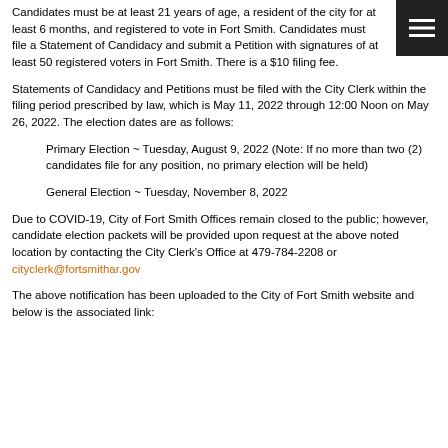Candidates must be at least 21 years of age, a resident of the city for at least 6 months, and registered to vote in Fort Smith. Candidates must file a Statement of Candidacy and submit a Petition with signatures of at least 50 registered voters in Fort Smith. There is a $10 filing fee.
Statements of Candidacy and Petitions must be filed with the City Clerk within the filing period prescribed by law, which is May 11, 2022 through 12:00 Noon on May 26, 2022. The election dates are as follows:
Primary Election ~ Tuesday, August 9, 2022 (Note: If no more than two (2) candidates file for any position, no primary election will be held)
General Election ~ Tuesday, November 8, 2022
Due to COVID-19, City of Fort Smith Offices remain closed to the public; however, candidate election packets will be provided upon request at the above noted location by contacting the City Clerk's Office at 479-784-2208 or cityclerk@fortsmithar.gov
The above notification has been uploaded to the City of Fort Smith website and below is the associated link: